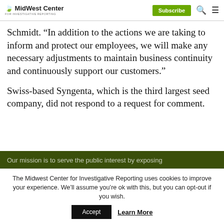MidWest Center for Investigative Reporting | Subscribe | Search | Menu
Schmidt. “In addition to the actions we are taking to inform and protect our employees, we will make any necessary adjustments to maintain business continuity and continuously support our customers.”
Swiss-based Syngenta, which is the third largest seed company, did not respond to a request for comment.
Our mission is to serve the public interest by exposing
The Midwest Center for Investigative Reporting uses cookies to improve your experience. We’ll assume you’re ok with this, but you can opt-out if you wish. Accept Learn More